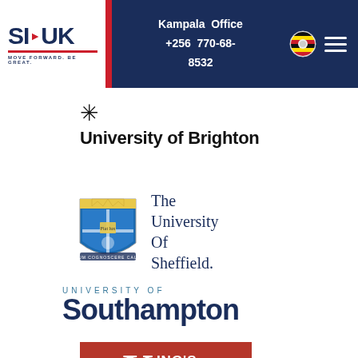SI-UK | Kampala Office +256 770-68-8532
[Figure (logo): University of Brighton logo with asterisk/star symbol above bold text 'University of Brighton']
[Figure (logo): The University of Sheffield logo with heraldic shield and serif text]
[Figure (logo): University of Southampton logo with 'UNIVERSITY OF' in small caps above large bold 'Southampton']
[Figure (logo): King's College London logo with white text on red/terracotta background, large K with 'ING'S College LONDON' text]